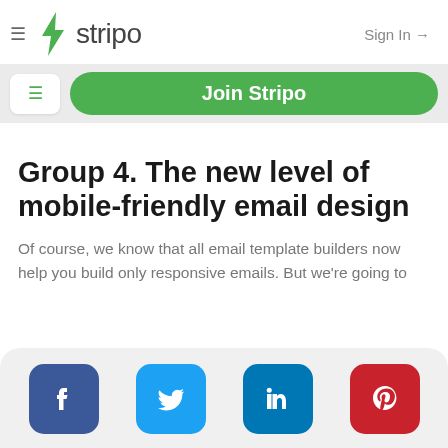≡ stripo  Sign In →
[Figure (logo): Stripo logo with green lightning bolt icon and 'stripo' text]
Join Stripo
Group 4. The new level of mobile-friendly email design
Of course, we know that all email template builders now help you build only responsive emails. But we're going to
[Figure (infographic): Social media share buttons: Facebook, Twitter, LinkedIn, Pinterest]